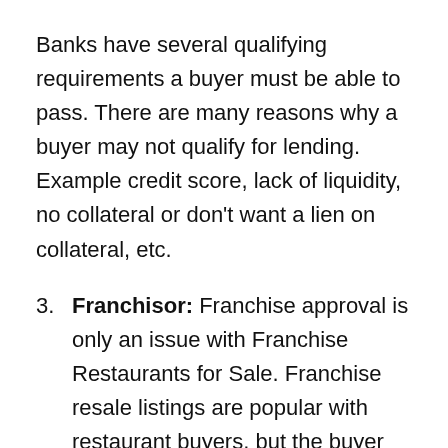Banks have several qualifying requirements a buyer must be able to pass. There are many reasons why a buyer may not qualify for lending. Example credit score, lack of liquidity, no collateral or don't want a lien on collateral, etc.
3. Franchisor: Franchise approval is only an issue with Franchise Restaurants for Sale. Franchise resale listings are popular with restaurant buyers, but the buyer has to get approved by the Franchise.
Franchisors have many requirements before they approve a buyer to become a franchisee.